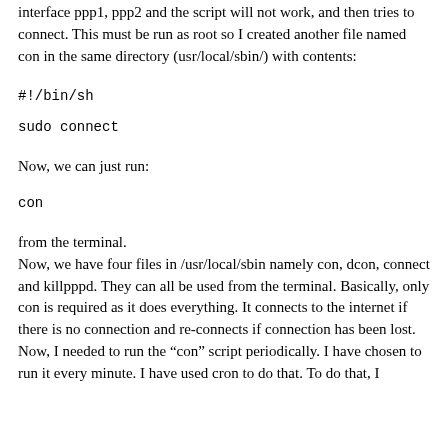interface ppp1, ppp2 and the script will not work, and then tries to connect. This must be run as root so I created another file named con in the same directory (usr/local/sbin/) with contents:
#!/bin/sh
sudo connect
Now, we can just run:
con
from the terminal.
Now, we have four files in /usr/local/sbin namely con, dcon, connect and killpppd. They can all be used from the terminal. Basically, only con is required as it does everything. It connects to the internet if there is no connection and re-connects if connection has been lost.
Now, I needed to run the “con” script periodically. I have chosen to run it every minute. I have used cron to do that. To do that, I